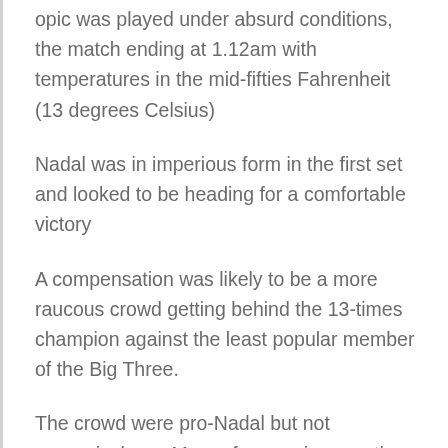opic was played under absurd conditions, the match ending at 1.12am with temperatures in the mid-fifties Fahrenheit (13 degrees Celsius)
Nadal was in imperious form in the first set and looked to be heading for a comfortable victory
A compensation was likely to be a more raucous crowd getting behind the 13-times champion against the least popular member of the Big Three.
The crowd were pro-Nadal but not excessively so. More of a surprise was the manner in which for the first hour there only appeared to be one man uncomfortable with these newly-introduced conditions, and it was not Nadal.